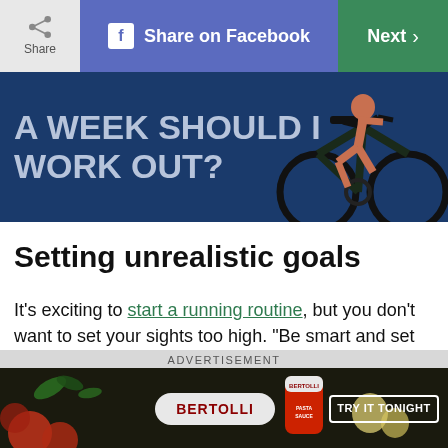Share | Share on Facebook | Next
[Figure (illustration): Banner image with dark blue background showing text 'A WEEK SHOULD I WORK OUT?' and an illustration of a person on an exercise bike on the right side.]
Setting unrealistic goals
It's exciting to start a running routine, but you don't want to set your sights too high. “Be smart and set the right goals,” says Meghan Kennihan, a certified personal trainer and running coach. Sign up for a fun run or a 5K first, before even thinking about a marathon. “Your goal should simply be to finish.”
[Figure (advertisement): Bertolli brand advertisement showing pasta sauce products with text 'TRY IT TONIGHT' on dark background with vegetables.]